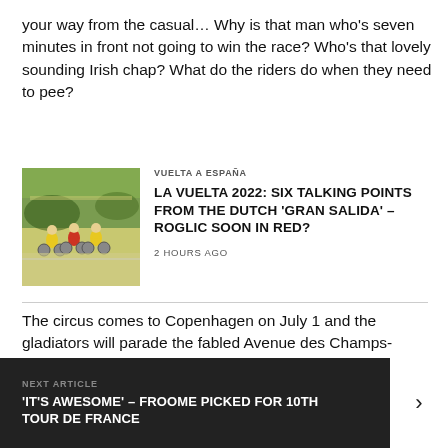your way from the casual… Why is that man who's seven minutes in front not going to win the race? Who's that lovely sounding Irish chap? What do the riders do when they need to pee?
VUELTA A ESPAÑA
LA VUELTA 2022: SIX TALKING POINTS FROM THE DUTCH 'GRAN SALIDA' – ROGLIC SOON IN RED?
2 HOURS AGO
[Figure (photo): Cyclists racing in yellow jerseys on a road]
The circus comes to Copenhagen on July 1 and the gladiators will parade the fabled Avenue des Champs-Elysees some 23 days later.
NEXT ARTICLE – 'IT'S AWESOME' – FROOME PICKED FOR 10TH TOUR DE FRANCE